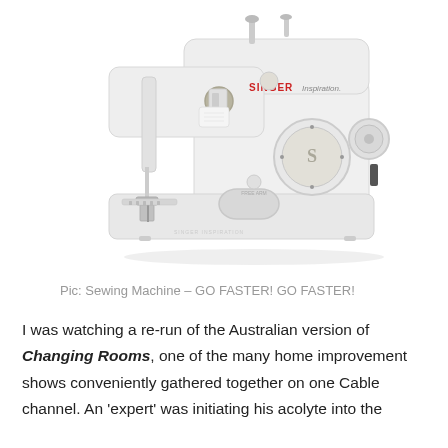[Figure (photo): A white Singer Inspiration sewing machine photographed against a white background, showing the front and right side with the needle arm, presser foot, various dials and controls, and the Singer Inspiration logo in red.]
Pic: Sewing Machine – GO FASTER! GO FASTER!
I was watching a re-run of the Australian version of Changing Rooms, one of the many home improvement shows conveniently gathered together on one Cable channel. An 'expert' was initiating his acolyte into the